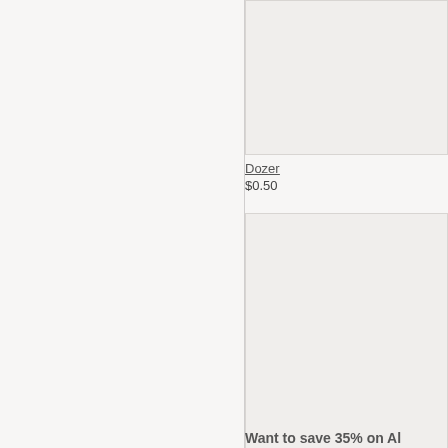[Figure (other): Product image placeholder box for Dozer]
Dozer
$0.50
[Figure (other): Product image placeholder box for Spring Tulips]
Spring Tulips
$0.50
Want to save 35% on Al